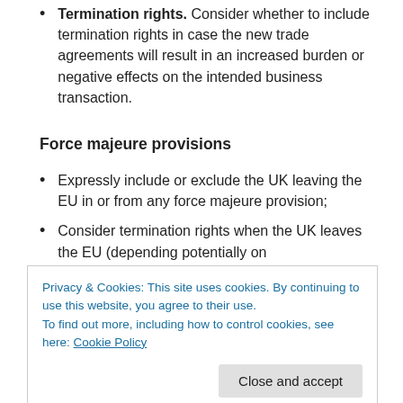Termination rights. Consider whether to include termination rights in case the new trade agreements will result in an increased burden or negative effects on the intended business transaction.
Force majeure provisions
Expressly include or exclude the UK leaving the EU in or from any force majeure provision;
Consider termination rights when the UK leaves the EU (depending potentially on
Privacy & Cookies: This site uses cookies. By continuing to use this website, you agree to their use.
To find out more, including how to control cookies, see here: Cookie Policy
Brexit definition and when it can be